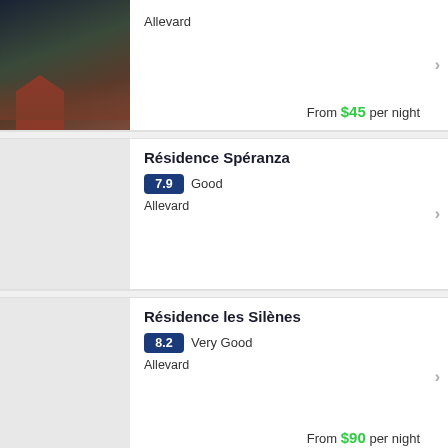[Figure (photo): Snowy mountain chalet/cabin photo]
Allevard
From $45 per night
Résidence Spéranza
7.9 Good
Allevard
Résidence les Silènes
8.2 Very Good
Allevard
From $90 per night
Appartements Le Clos des Gentianes
6.9